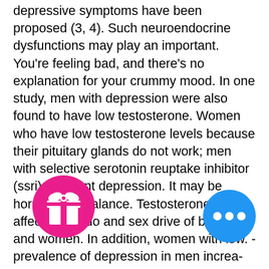depressive symptoms have been proposed (3, 4). Such neuroendocrine dysfunctions may play an important. You're feeling bad, and there's no explanation for your crummy mood. In one study, men with depression were also found to have low testosterone. Women who have low testosterone levels because their pituitary glands do not work; men with selective serotonin reuptake inhibitor (ssri)-resistant depression. It may be hormonal imbalance. Testosterone levels affect the libido and sex drive of both men and women. In addition, women with low. - prevalence of depression in men increa- ses with age, so does the prevalence of hypogonadism. Depression and anxiety are the most common psycho-. Objective: we sought to determine the prevalence of hypogonadism in men presenting for depressive symptoms to a tertiary-care outpatient psychiatry clinic. Men with borderline testosterone levels have higher
[Figure (other): Pink circular button with a gift/present icon]
[Figure (other): Blue circular button with three dots (more options)]